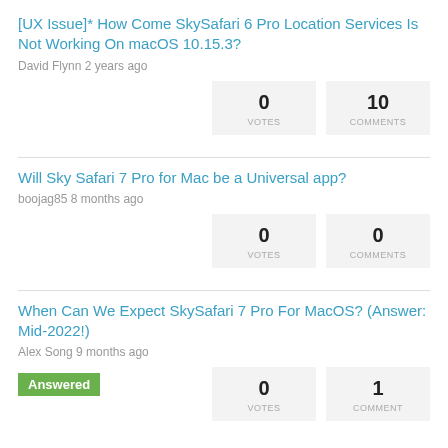[UX Issue]* How Come SkySafari 6 Pro Location Services Is Not Working On macOS 10.15.3?
David Flynn 2 years ago
| VOTES | COMMENTS |
| --- | --- |
| 0 | 10 |
Will Sky Safari 7 Pro for Mac be a Universal app?
boojag85 8 months ago
| VOTES | COMMENTS |
| --- | --- |
| 0 | 0 |
When Can We Expect SkySafari 7 Pro For MacOS? (Answer: Mid-2022!)
Alex Song 9 months ago
Answered
| VOTES | COMMENT |
| --- | --- |
| 0 | 1 |